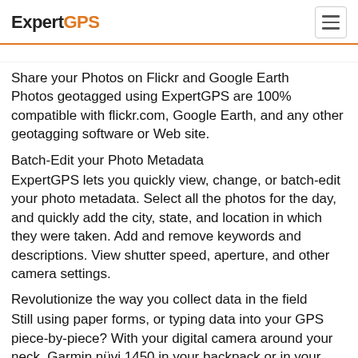ExpertGPS
Share your Photos on Flickr and Google Earth Photos geotagged using ExpertGPS are 100% compatible with flickr.com, Google Earth, and any other geotagging software or Web site.
Batch-Edit your Photo Metadata
ExpertGPS lets you quickly view, change, or batch-edit your photo metadata. Select all the photos for the day, and quickly add the city, state, and location in which they were taken. Add and remove keywords and descriptions. View shutter speed, aperture, and other camera settings.
Revolutionize the way you collect data in the field
Still using paper forms, or typing data into your GPS piece-by-piece? With your digital camera around your neck, Garmin nüvi 1450 in your backpack or in your vehicle, and